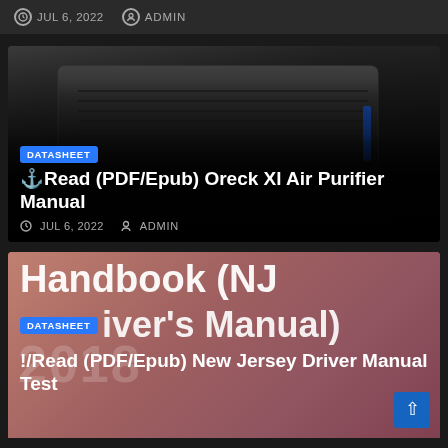JUL 6, 2022   ADMIN
[Figure (screenshot): Article card showing an air purifier device (black, flat unit) with title 'Read (PDF/Epub) Oreck Xl Air Purifier Manual', date JUL 6, 2022, author ADMIN, and a DATASHEET badge]
[Figure (screenshot): Partially visible article card with pinkish-brown background showing text 'Handbook (NJ Driver's Manual)' and '!/Read (PDF/Epub) New Jersey Driver Manual Test' with a DATASHEET badge and scroll-to-top button]